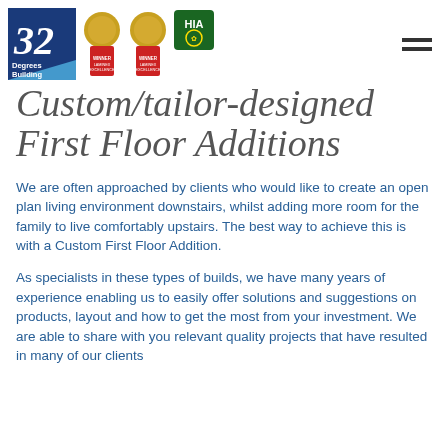32 Degrees Building logo with medals and HIA badge
Custom/tailor-designed First Floor Additions
We are often approached by clients who would like to create an open plan living environment downstairs, whilst adding more room for the family to live comfortably upstairs. The best way to achieve this is with a Custom First Floor Addition.
As specialists in these types of builds, we have many years of experience enabling us to easily offer solutions and suggestions on products, layout and how to get the most from your investment. We are able to share with you relevant quality projects that have resulted in many of our clients